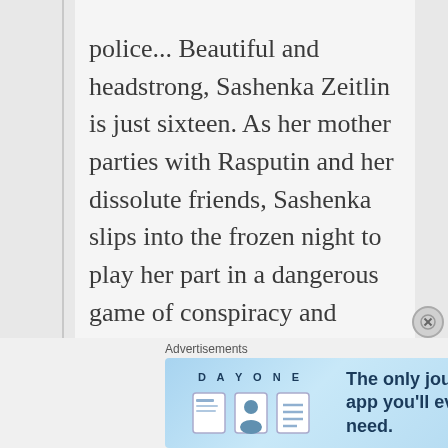police... Beautiful and headstrong, Sashenka Zeitlin is just sixteen. As her mother parties with Rasputin and her dissolute friends, Sashenka slips into the frozen night to play her part in a dangerous game of conspiracy and seduction. Twenty years on, Sashenka has a powerful husband with whom she has two children. Around her people are disappearing, but her own family is safe. But she's about to embark on a forbidden love affair which will have devastating consequences. Sashenka's story lies hidden
Advertisements
[Figure (illustration): DAY ONE journaling app advertisement banner with app icons and tagline 'The only journaling app you'll ever need.' on a blue gradient background.]